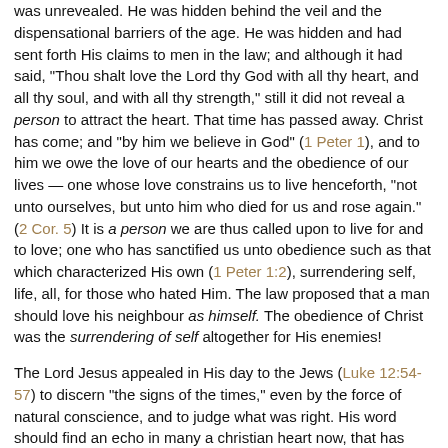was unrevealed. He was hidden behind the veil and the dispensational barriers of the age. He was hidden and had sent forth His claims to men in the law; and although it had said, "Thou shalt love the Lord thy God with all thy heart, and all thy soul, and with all thy strength," still it did not reveal a person to attract the heart. That time has passed away. Christ has come; and "by him we believe in God" (1 Peter 1), and to him we owe the love of our hearts and the obedience of our lives — one whose love constrains us to live henceforth, "not unto ourselves, but unto him who died for us and rose again." (2 Cor. 5) It is a person we are thus called upon to live for and to love; one who has sanctified us unto obedience such as that which characterized His own (1 Peter 1:2), surrendering self, life, all, for those who hated Him. The law proposed that a man should love his neighbour as himself. The obedience of Christ was the surrendering of self altogether for His enemies!
The Lord Jesus appealed in His day to the Jews (Luke 12:54-57) to discern "the signs of the times," even by the force of natural conscience, and to judge what was right. His word should find an echo in many a christian heart now, that has sunk down to sleep amongst the dead. (Eph. 5:14.) Everything around us in the present day, religion, the state of men, nations, powers, kingdoms are each gradually and perceptibly taking their places for the closing scenes of